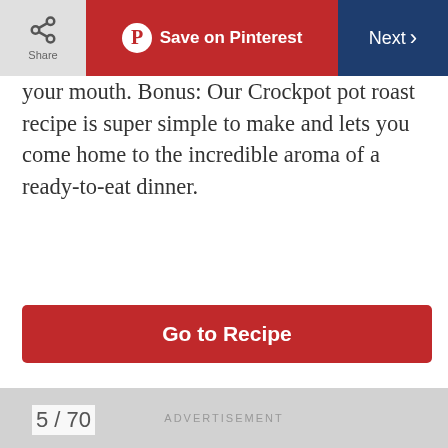Share | Save on Pinterest | Next
your mouth. Bonus: Our Crockpot pot roast recipe is super simple to make and lets you come home to the incredible aroma of a ready-to-eat dinner.
Go to Recipe
[Figure (photo): A bowl of chili or stew with sausage slices, beans, and green onions, with a piece of cornbread on the side]
5 / 70
ADVERTISEMENT